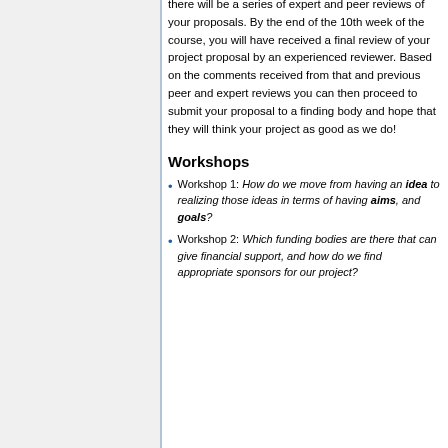there will be a series of expert and peer reviews of your proposals. By the end of the 10th week of the course, you will have received a final review of your project proposal by an experienced reviewer. Based on the comments received from that and previous peer and expert reviews you can then proceed to submit your proposal to a finding body and hope that they will think your project as good as we do!
Workshops
Workshop 1: How do we move from having an idea to realizing those ideas in terms of having aims, and goals?
Workshop 2: Which funding bodies are there that can give financial support, and how do we find appropriate sponsors for our project?